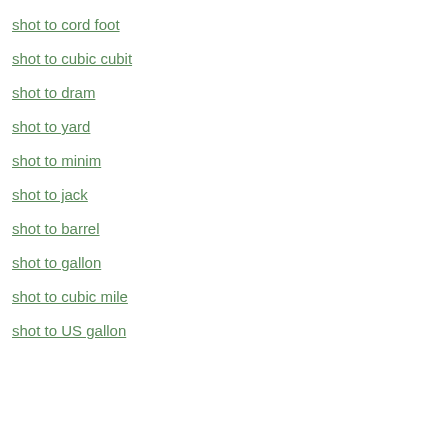shot to cord foot
shot to cubic cubit
shot to dram
shot to yard
shot to minim
shot to jack
shot to barrel
shot to gallon
shot to cubic mile
shot to US gallon